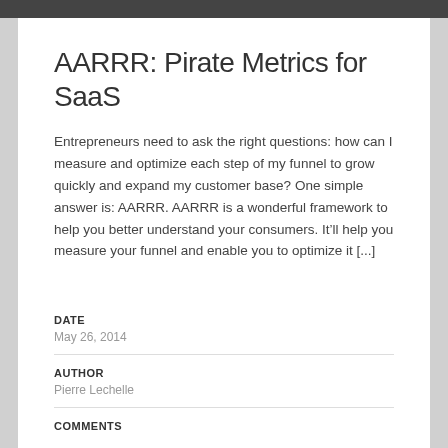AARRR: Pirate Metrics for SaaS
Entrepreneurs need to ask the right questions: how can I measure and optimize each step of my funnel to grow quickly and expand my customer base? One simple answer is: AARRR. AARRR is a wonderful framework to help you better understand your consumers. It'll help you measure your funnel and enable you to optimize it [...]
DATE
May 26, 2014
AUTHOR
Pierre Lechelle
COMMENTS